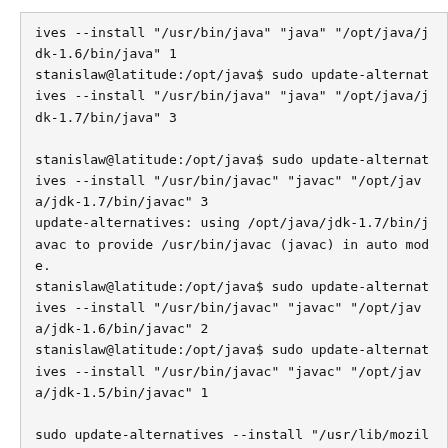ives --install "/usr/bin/java" "java" "/opt/java/jdk-1.6/bin/java" 1
stanislaw@latitude:/opt/java$ sudo update-alternatives --install "/usr/bin/java" "java" "/opt/java/jdk-1.7/bin/java" 3

stanislaw@latitude:/opt/java$ sudo update-alternatives --install "/usr/bin/javac" "javac" "/opt/java/jdk-1.7/bin/javac" 3
update-alternatives: using /opt/java/jdk-1.7/bin/javac to provide /usr/bin/javac (javac) in auto mode.
stanislaw@latitude:/opt/java$ sudo update-alternatives --install "/usr/bin/javac" "javac" "/opt/java/jdk-1.6/bin/javac" 2
stanislaw@latitude:/opt/java$ sudo update-alternatives --install "/usr/bin/javac" "javac" "/opt/java/jdk-1.5/bin/javac" 1

sudo update-alternatives --install "/usr/lib/mozilla/plugins/libjavaplugin.so" "mozilla-javaplugin.so" "/opt/java/jdk-1.6/jre/lib//i386/libnpjp2.so" 1